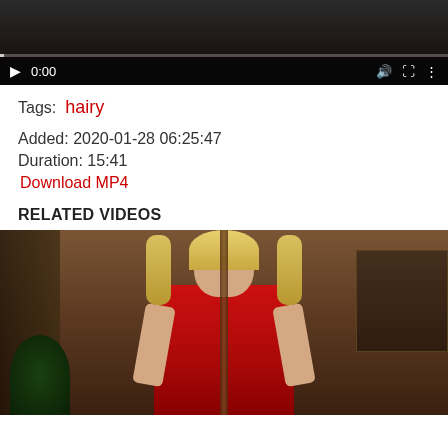[Figure (screenshot): Video player showing dark content with play button showing 0:00 timestamp and media controls]
Tags: hairy
Added: 2020-01-28 06:25:47
Duration: 15:41
Download MP4
RELATED VIDEOS
[Figure (screenshot): Thumbnail of related video showing a blonde woman in red lingerie in a room with wooden shutters and stone walls]